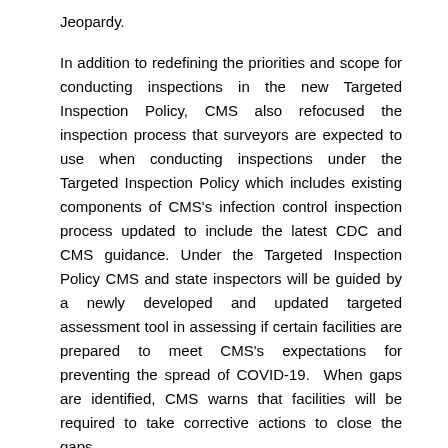Jeopardy.
In addition to redefining the priorities and scope for conducting inspections in the new Targeted Inspection Policy, CMS also refocused the inspection process that surveyors are expected to use when conducting inspections under the Targeted Inspection Policy which includes existing components of CMS's infection control inspection process updated to include the latest CDC and CMS guidance. Under the Targeted Inspection Policy CMS and state inspectors will be guided by a newly developed and updated targeted assessment tool in assessing if certain facilities are prepared to meet CMS's expectations for preventing the spread of COVID-19. When gaps are identified, CMS warns that facilities will be required to take corrective actions to close the gaps.